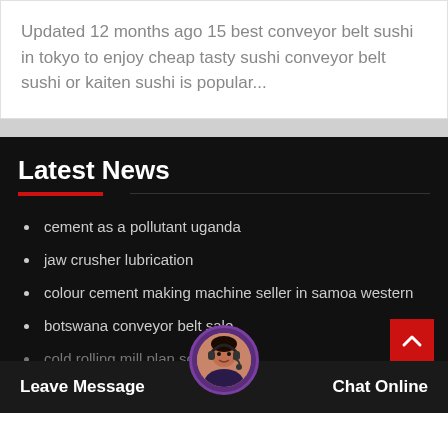Updated 12 months ago 15 best conveyor belt sushi in tokyo to enjoy cheap tasty sushi conveyor belt sushi or kaiten sushi is popular...
Latest News
cement as a pollutant uganda
jaw crusher lubrication
colour cement making machine seller in samoa western
botswana conveyor belt sale
cold rolling mill plan sou...
crushing plant video ariel